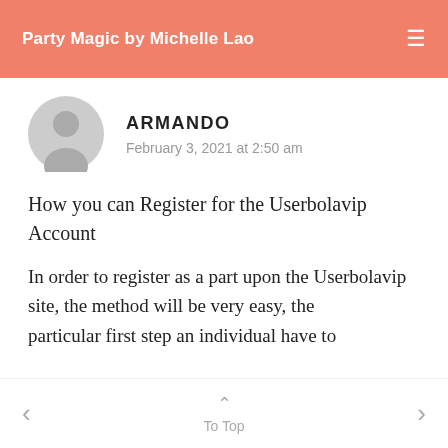Party Magic by Michelle Lao
[Figure (illustration): Gray circular avatar silhouette with a person icon]
ARMANDO
February 3, 2021 at 2:50 am
How you can Register for the Userbolavip Account
In order to register as a part upon the Userbolavip site, the method will be very easy, the particular first step an individual have to
To Top